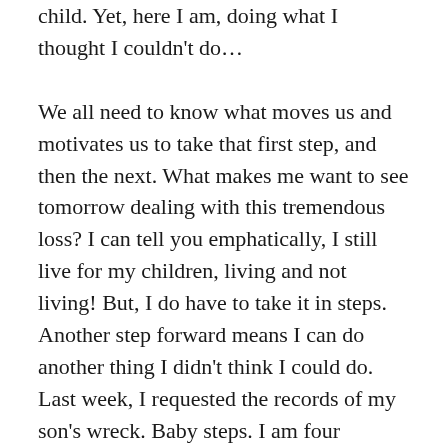child. Yet, here I am, doing what I thought I couldn't do…
We all need to know what moves us and motivates us to take that first step, and then the next. What makes me want to see tomorrow dealing with this tremendous loss? I can tell you emphatically, I still live for my children, living and not living! But, I do have to take it in steps. Another step forward means I can do another thing I didn't think I could do. Last week, I requested the records of my son's wreck. Baby steps. I am four months away from the three-year mark and two more of the boys on my son's friends list have died. That is now my motivation, an opportunity to shed light on this tragedy to avoid more tragedies!